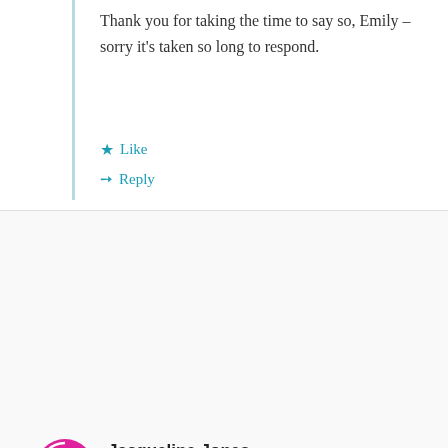Thank you for taking the time to say so, Emily – sorry it's taken so long to respond.
Like
Reply
Jacqueline Jones
2nd Oct 2021 at 11:25 am
Dear reluctant carer,
My condolences to you and your family x
You are an amazing writer and able to express your feelings so well in such an honest way.
I hope you continue to write x